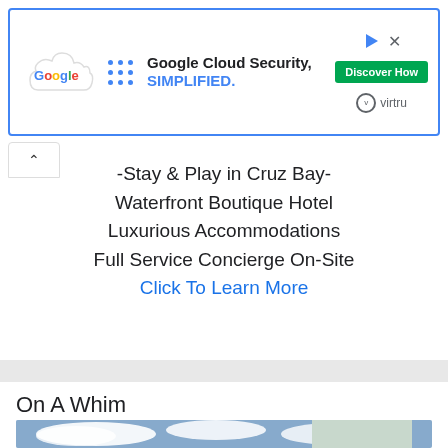[Figure (other): Google Cloud Security, SIMPLIFIED. advertisement banner with Google logo, cloud graphic, blue dots, Discover How button, Virtru logo, play and close icons]
-Stay & Play in Cruz Bay-
Waterfront Boutique Hotel
Luxurious Accommodations
Full Service Concierge On-Site
Click To Learn More
On A Whim
[Figure (photo): Photo showing a blue sky with white clouds and the top corner of a white building with a light teal/green roof edge]